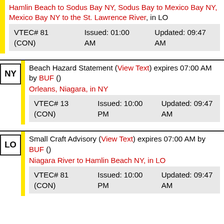Hamlin Beach to Sodus Bay NY, Sodus Bay to Mexico Bay NY, Mexico Bay NY to the St. Lawrence River, in LO VTEC# 81 (CON) Issued: 01:00 AM Updated: 09:47 AM
NY Beach Hazard Statement (View Text) expires 07:00 AM by BUF () Orleans, Niagara, in NY VTEC# 13 (CON) Issued: 10:00 PM Updated: 09:47 AM
LO Small Craft Advisory (View Text) expires 07:00 AM by BUF () Niagara River to Hamlin Beach NY, in LO VTEC# 81 (CON) Issued: 10:00 PM Updated: 09:47 AM